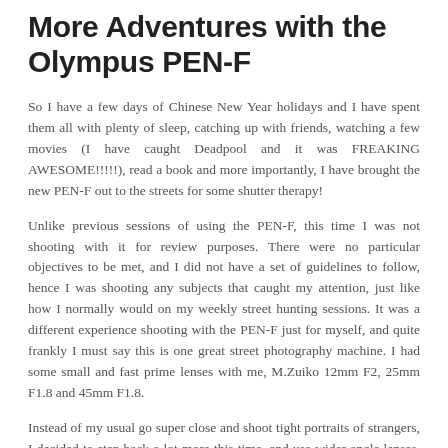More Adventures with the Olympus PEN-F
So I have a few days of Chinese New Year holidays and I have spent them all with plenty of sleep, catching up with friends, watching a few movies (I have caught Deadpool and it was FREAKING AWESOME!!!!!), read a book and more importantly, I have brought the new PEN-F out to the streets for some shutter therapy!
Unlike previous sessions of using the PEN-F, this time I was not shooting with it for review purposes. There were no particular objectives to be met, and I did not have a set of guidelines to follow, hence I was shooting any subjects that caught my attention, just like how I normally would on my weekly street hunting sessions. It was a different experience shooting with the PEN-F just for myself, and quite frankly I must say this is one great street photography machine. I had some small and fast prime lenses with me, M.Zuiko 12mm F2, 25mm F1.8 and 45mm F1.8.
Instead of my usual go super close and shoot tight portraits of strangers, I decided to step back a lot more this time, and use wider-angle lenses. Always, always, be experimenting...